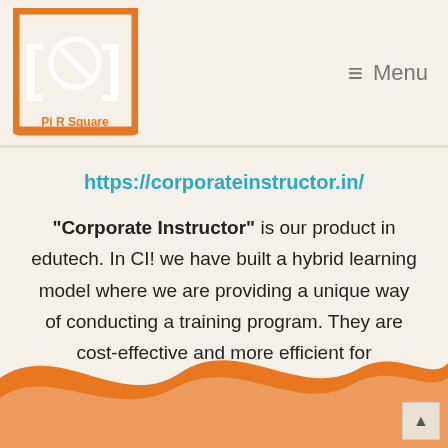[Figure (logo): Pi R Square logo - orange square border with bracket symbols and a circle with a diagonal line, text 'Pi R Square' below]
≡ Menu
https://corporateinstructor.in/
“Corporate Instructor” is our product in edutech. In CI! we have built a hybrid learning model where we are providing a unique way of conducting a training program. They are cost-effective and more efficient for participants.
[Figure (illustration): Orange wave decorative footer element at the bottom of the page]